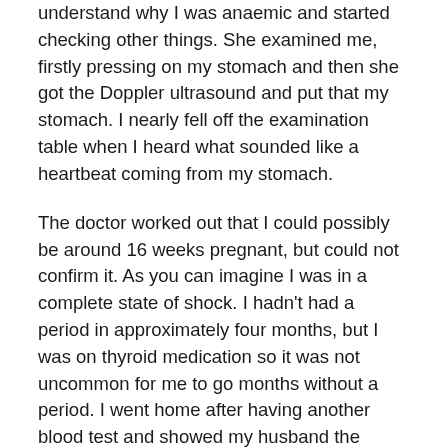understand why I was anaemic and started checking other things. She examined me, firstly pressing on my stomach and then she got the Doppler ultrasound and put that my stomach. I nearly fell off the examination table when I heard what sounded like a heartbeat coming from my stomach.
The doctor worked out that I could possibly be around 16 weeks pregnant, but could not confirm it. As you can imagine I was in a complete state of shock. I hadn't had a period in approximately four months, but I was on thyroid medication so it was not uncommon for me to go months without a period. I went home after having another blood test and showed my husband the referral to the obstetrician. My husband was as utterly shocked as I was.
Fortunately, due to my age and the potentially advanced